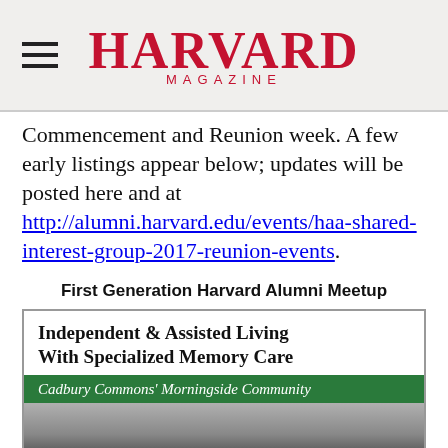HARVARD MAGAZINE
Commencement and Reunion week. A few early listings appear below; updates will be posted here and at http://alumni.harvard.edu/events/haa-shared-interest-group-2017-reunion-events.
First Generation Harvard Alumni Meetup
[Figure (other): Advertisement for Independent & Assisted Living With Specialized Memory Care — Cadbury Commons' Morningside Community, with a green bar and a grayscale image below.]